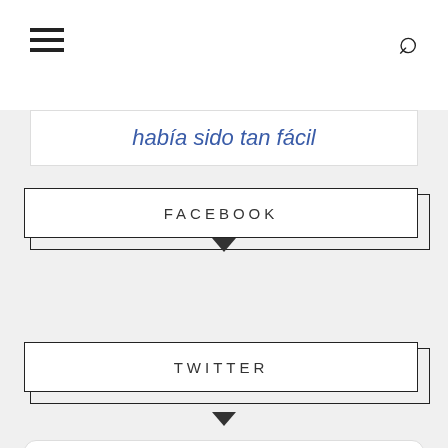≡  🔍
había sido tan fácil
FACEBOOK
TWITTER
Tweets de @QlikAddicts
Business Addicts retwitteó